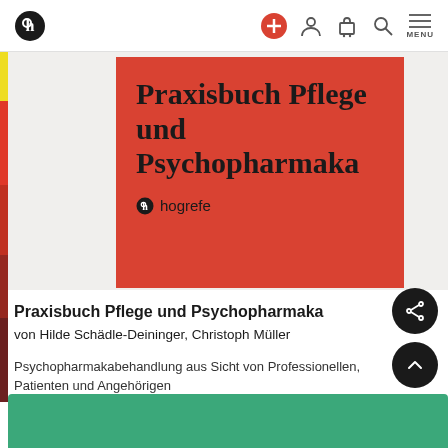[Figure (screenshot): Hogrefe publisher website navigation bar with logo, plus/add button, account, cart, search, and menu icons]
[Figure (illustration): Book cover for 'Praxisbuch Pflege und Psychopharmaka' on red background with Hogrefe logo, partially shown on a website product page]
Praxisbuch Pflege und Psychopharmaka
von Hilde Schädle-Deininger, Christoph Müller
Psychopharmakabehandlung aus Sicht von Professionellen, Patienten und Angehörigen
Verfügbar als:
Details